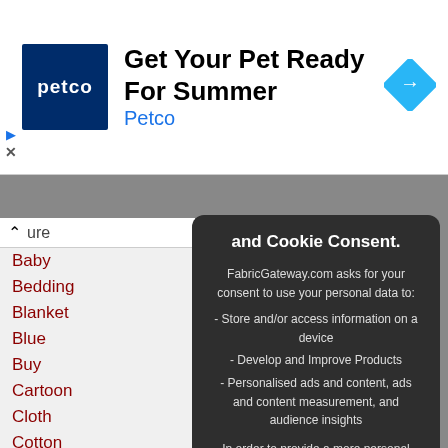[Figure (advertisement): Petco ad banner: Petco logo (dark blue square with 'petco' text), headline 'Get Your Pet Ready For Summer', brand name 'Petco' in blue, blue diamond arrow icon on right]
ure
Baby
Bedding
Blanket
Blue
Buy
Cartoon
Cloth
Cotton
Custom
Cute
Etsy
Fabric
Ghibli
Gift
Green
Grey
Hypoallergenic
and Cookie Consent. FabricGateway.com asks for your consent to use your personal data to: - Store and/or access information on a device - Develop and Improve Products - Personalised ads and content, ads and content measurement, and audience insights In order to provide a more personal user experience, we and our partners use technology such as cookies to store and/or access device information.